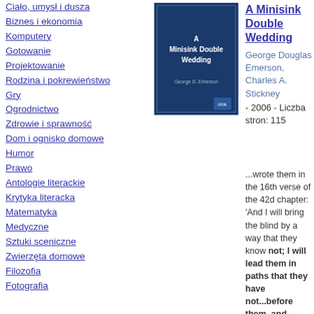Ciało, umysł i dusza
Biznes i ekonomia
Komputery
Gotowanie
Projektowanie
Rodzina i pokrewieństwo
Gry
Ogrodnictwo
Zdrowie i sprawność
Dom i ognisko domowe
Humor
Prawo
Antologie literackie
Krytyka literacka
Matematyka
Medyczne
Sztuki sceniczne
Zwierzęta domowe
Filozofia
Fotografia
[Figure (illustration): Book cover of 'A Minisink Double Wedding' - dark blue cover with white text]
A Minisink Double Wedding
George Douglas Emerson, Charles A. Stickney - 2006 - Liczba stron: 115
...wrote them in the 16th verse of the 42d chapter: 'And I will bring the blind by a way that they know not; I will lead them in paths that they have not...before them, and crooked things straight. These things I do unto